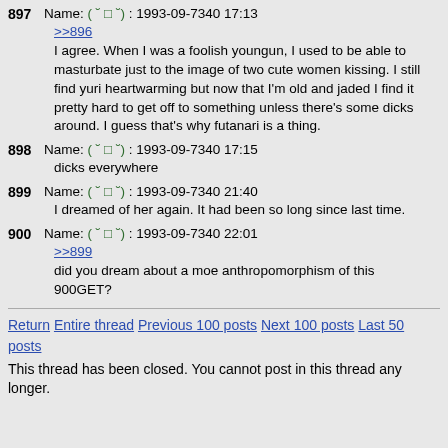897 Name: (˘□˘) : 1993-09-7340 17:13
>>896
I agree. When I was a foolish youngun, I used to be able to masturbate just to the image of two cute women kissing. I still find yuri heartwarming but now that I'm old and jaded I find it pretty hard to get off to something unless there's some dicks around. I guess that's why futanari is a thing.
898 Name: (˘□˘) : 1993-09-7340 17:15
dicks everywhere
899 Name: (˘□˘) : 1993-09-7340 21:40
I dreamed of her again. It had been so long since last time.
900 Name: (˘□˘) : 1993-09-7340 22:01
>>899
did you dream about a moe anthropomorphism of this
900GET?
Return Entire thread Previous 100 posts Next 100 posts Last 50 posts
This thread has been closed. You cannot post in this thread any longer.